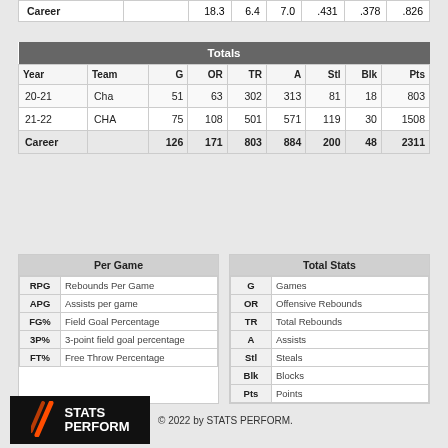| Career |  | 18.3 | 6.4 | 7.0 | .431 | .378 | .826 |
| --- | --- | --- | --- | --- | --- | --- | --- |
| Career |  | 18.3 | 6.4 | 7.0 | .431 | .378 | .826 |
| Year | Team | G | OR | TR | A | Stl | Blk | Pts |
| --- | --- | --- | --- | --- | --- | --- | --- | --- |
| 20-21 | Cha | 51 | 63 | 302 | 313 | 81 | 18 | 803 |
| 21-22 | CHA | 75 | 108 | 501 | 571 | 119 | 30 | 1508 |
| Career |  | 126 | 171 | 803 | 884 | 200 | 48 | 2311 |
| Per Game |  |
| --- | --- |
| RPG | Rebounds Per Game |
| APG | Assists per game |
| FG% | Field Goal Percentage |
| 3P% | 3-point field goal percentage |
| FT% | Free Throw Percentage |
| Total Stats |  |
| --- | --- |
| G | Games |
| OR | Offensive Rebounds |
| TR | Total Rebounds |
| A | Assists |
| Stl | Steals |
| Blk | Blocks |
| Pts | Points |
© 2022 by STATS PERFORM.